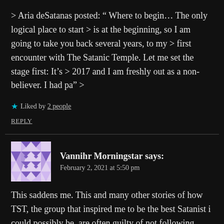> Aria deSatanas posted: " Where to begin… The only logical place to start > is at the beginning, so I am going to take you back several years, to my > first encounter with The Satanic Temple. Let me set the stage first: It's > 2017 and I am freshly out as a non-believer. I had pa" >
★ Liked by 2 people
REPLY
Vannihr Morningstar says:
February 2, 2021 at 5:50 pm
This saddens me. This and many other stories of how TST, the group that inspired me to be the best Satanist i could possibly be, are often guilty of not following what they preach. Which wouldn't be an issue, since we all make